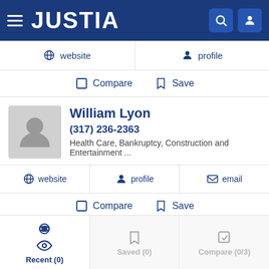JUSTIA
website   profile
Compare   Save
William Lyon
(317) 236-2363
Health Care, Bankruptcy, Construction and Entertainment ...
website   profile   email
Compare   Save
Stacy Cook
Recent (0)   Saved (0)   Compare (0/3)